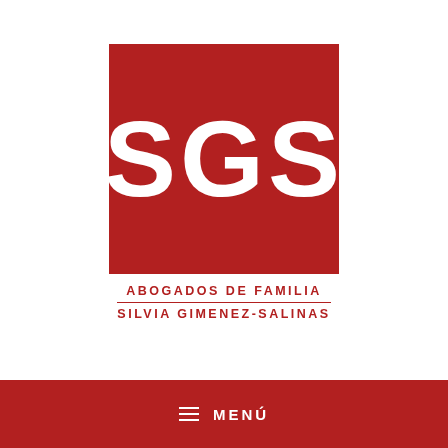[Figure (logo): SGS law firm logo — dark red square with large white letters 'SGS', below the square the text 'ABOGADOS DE FAMILIA' with a horizontal rule, then 'SILVIA GIMENEZ-SALINAS']
≡  MENÚ